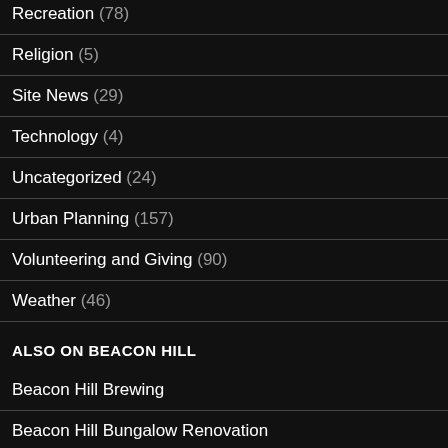Recreation (78)
Religion (5)
Site News (29)
Technology (4)
Uncategorized (24)
Urban Planning (157)
Volunteering and Giving (90)
Weather (46)
ALSO ON BEACON HILL
Beacon Hill Brewing
Beacon Hill Bungalow Renovation